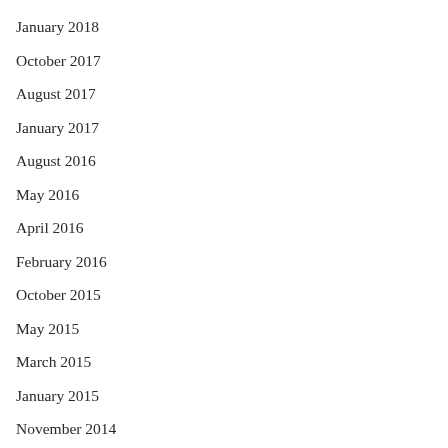January 2018
October 2017
August 2017
January 2017
August 2016
May 2016
April 2016
February 2016
October 2015
May 2015
March 2015
January 2015
November 2014
October 2014
September 2014
August 2014